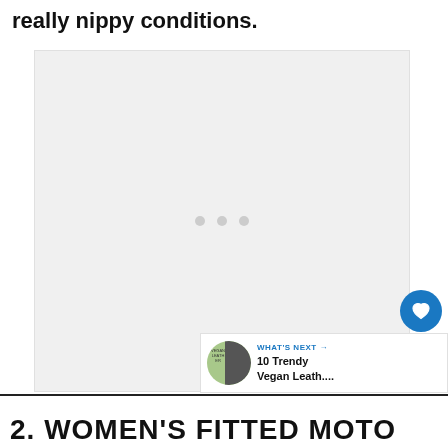really nippy conditions.
[Figure (photo): Large image placeholder with three dots indicating loading state]
[Figure (other): Circular blue heart/favorite button icon]
[Figure (other): Circular white share button icon]
[Figure (other): What's Next panel showing '10 Trendy Vegan Leath...' with thumbnail]
2. WOMEN'S FITTED MOTO